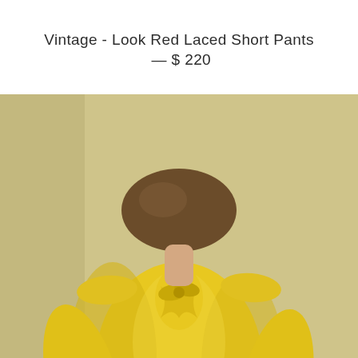Vintage - Look Red Laced Short Pants — $ 220
[Figure (photo): A woman wearing a yellow chiffon blouse with a bow/ruffle at the neckline and long sleeves, paired with a gray pencil skirt. She is standing in front of a pale yellow wall, with her hands clasped in front of her. Her face is not visible (cropped). The photo has a vintage, slightly desaturated quality.]